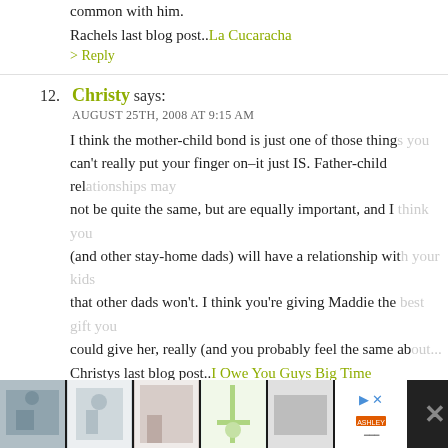common with him.
Rachels last blog post..La Cucaracha
> Reply
12. Christy says: AUGUST 25TH, 2008 AT 9:15 AM
I think the mother-child bond is just one of those things you can't really put your finger on–it just IS. Father-child relationships may not be quite the same, but are equally important, and I think you (and other stay-home dads) will have a relationship with your kids that other dads won't. I think you're giving Maddie the best gift you could give her, really (and you probably feel the same about...)
Christys last blog post..I Owe You Guys Big Time
> Reply
13. Brandy says: AUGUST 25TH, 2008 AT 10:18 AM